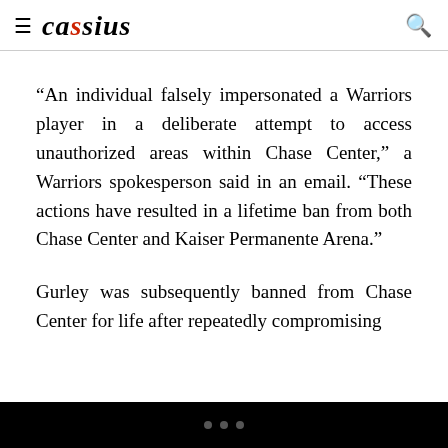cassius
“An individual falsely impersonated a Warriors player in a deliberate attempt to access unauthorized areas within Chase Center,” a Warriors spokesperson said in an email. “These actions have resulted in a lifetime ban from both Chase Center and Kaiser Permanente Arena.”
Gurley was subsequently banned from Chase Center for life after repeatedly compromising